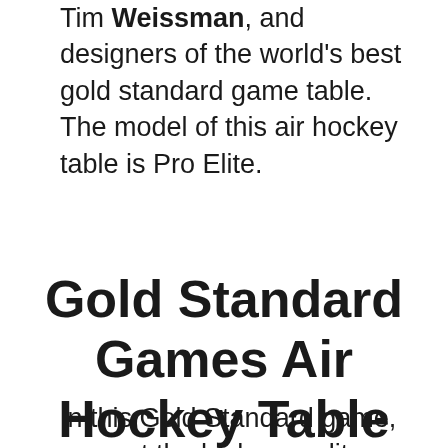Tim Weissman, and designers of the world's best gold standard game table. The model of this air hockey table is Pro Elite.
Gold Standard Games Air Hockey Table
In this Gold Standard game, you get the higher quality bounce, tougher, professional-